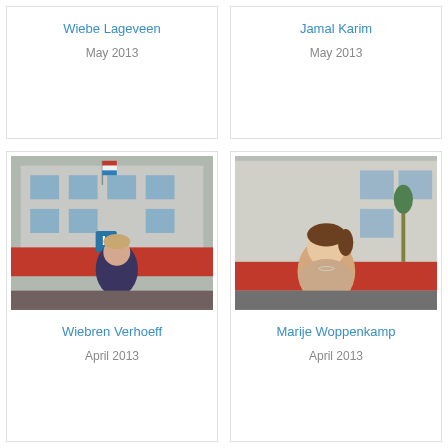Wiebe Lageveen
May 2013
Jamal Karim
May 2013
[Figure (photo): Man standing in front of a red car with an L-plate, residential building in background. Wiebren Verhoeff.]
Wiebren Verhoeff
April 2013
[Figure (photo): Young woman smiling in front of a red car, residential building in background. Marije Woppenkamp.]
Marije Woppenkamp
April 2013